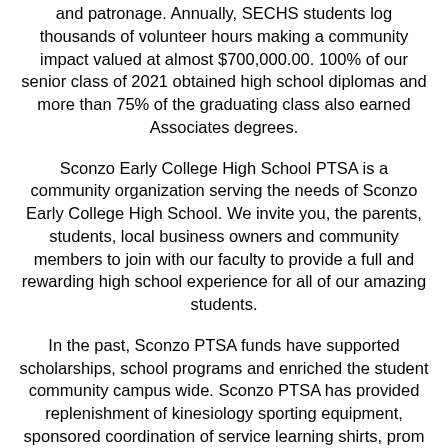and patronage. Annually, SECHS students log thousands of volunteer hours making a community impact valued at almost $700,000.00. 100% of our senior class of 2021 obtained high school diplomas and more than 75% of the graduating class also earned Associates degrees.
Sconzo Early College High School PTSA is a community organization serving the needs of Sconzo Early College High School. We invite you, the parents, students, local business owners and community members to join with our faculty to provide a full and rewarding high school experience for all of our amazing students.
In the past, Sconzo PTSA funds have supported scholarships, school programs and enriched the student community campus wide. Sconzo PTSA has provided replenishment of kinesiology sporting equipment, sponsored coordination of service learning shirts, prom supplements, senior class activities supplements, student appreciation days, school spirit days, incumbent